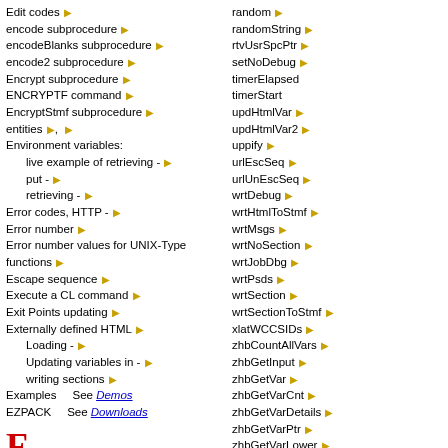Edit codes ▶
encode subprocedure ▶
encodeBlanks subprocedure ▶
encode2 subprocedure ▶
Encrypt subprocedure ▶
ENCRYPTF command ▶
EncryptStmf subprocedure ▶
entities ▶, ▶
Environment variables:
live example of retrieving - ▶
put - ▶
retrieving - ▶
Error codes, HTTP - ▶
Error number ▶
Error number values for UNIX-Type functions ▶
Escape sequence ▶
Execute a CL command ▶
Exit Points updating ▶
Externally defined HTML ▶
Loading - ▶
Updating variables in - ▶
writing sections ▶
Examples    See Demos
EZPACK    See Downloads
F
FAQ (Frequently Asked Questions) ▶
random ▶
randomString ▶
rtvUsrSpcPtr ▶
setNoDebug ▶
timerElapsed
timerStart
updHtmlVar ▶
updHtmlVar2 ▶
uppify ▶
urlEscSeq ▶
urlUnEscSeq ▶
wrtDebug ▶
wrtHtmlToStmf ▶
wrtMsgs ▶
wrtNoSection ▶
wrtJobDbg ▶
wrtPsds ▶
wrtSection ▶
wrtSectionToStmf ▶
xlatWCCSIDs ▶
zhbCountAllVars ▶
zhbGetInput ▶
zhbGetVar ▶
zhbGetVarCnt ▶
zhbGetVarDetails ▶
zhbGetVarPtr ▶
zhbGetVarLower ▶
zhbGetVarUpper ▶
T